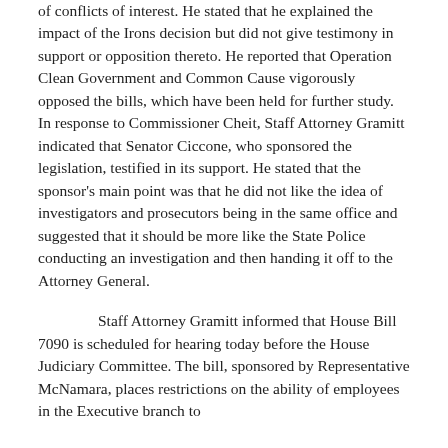of conflicts of interest.  He stated that he explained the impact of the Irons decision but did not give testimony in support or opposition thereto.  He reported that Operation Clean Government and Common Cause vigorously opposed the bills, which have been held for further study.  In response to Commissioner Cheit, Staff Attorney Gramitt indicated that Senator Ciccone, who sponsored the legislation, testified in its support.  He stated that the sponsor's main point was that he did not like the idea of investigators and prosecutors being in the same office and suggested that it should be more like the State Police conducting an investigation and then handing it off to the Attorney General.
Staff Attorney Gramitt informed that House Bill 7090 is scheduled for hearing today before the House Judiciary Committee.  The bill, sponsored by Representative McNamara, places restrictions on the ability of employees in the Executive branch to